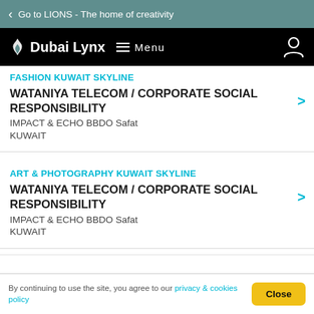< Go to LIONS - The home of creativity
Dubai Lynx  Menu
FASHION KUWAIT SKYLINE
WATANIYA TELECOM / CORPORATE SOCIAL RESPONSIBILITY
IMPACT & ECHO BBDO Safat
KUWAIT
ART & PHOTOGRAPHY KUWAIT SKYLINE
WATANIYA TELECOM / CORPORATE SOCIAL RESPONSIBILITY
IMPACT & ECHO BBDO Safat
KUWAIT
By continuing to use the site, you agree to our privacy & cookies policy